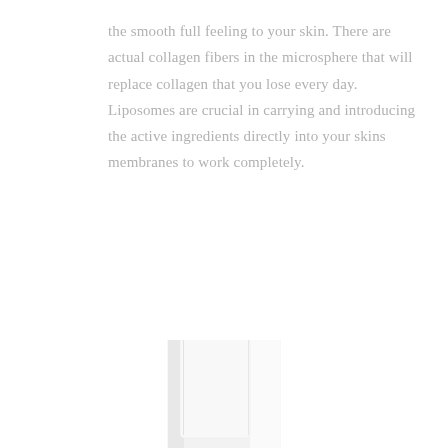the smooth full feeling to your skin. There are actual collagen fibers in the microsphere that will replace collagen that you lose every day. Liposomes are crucial in carrying and introducing the active ingredients directly into your skins membranes to work completely.
[Figure (photo): Close-up photo of a white cosmetic pump bottle dispenser top, frosted/translucent appearance with silver/grey collar at the bottom, on a white background.]